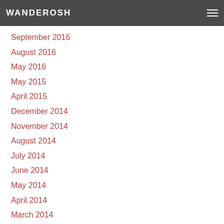WANDEROSH
September 2016
August 2016
May 2016
May 2015
April 2015
December 2014
November 2014
August 2014
July 2014
June 2014
May 2014
April 2014
March 2014
February 2014
January 2014
December 2013
November 2013